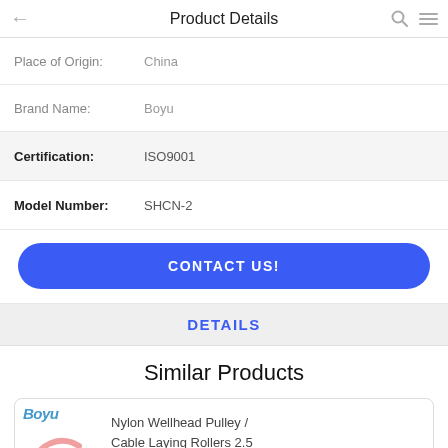Product Details
Place of Origin: China
Brand Name: Boyu
Certification: ISO9001
Model Number: SHCN-2
CONTACT US!
DETAILS
Similar Products
Boyu
Nylon Wellhead Pulley / Cable Laying Rollers 2.5